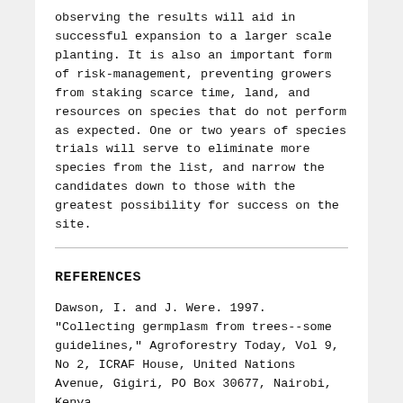observing the results will aid in successful expansion to a larger scale planting. It is also an important form of risk-management, preventing growers from staking scarce time, land, and resources on species that do not perform as expected. One or two years of species trials will serve to eliminate more species from the list, and narrow the candidates down to those with the greatest possibility for success on the site.
REFERENCES
Dawson, I. and J. Were. 1997. "Collecting germplasm from trees--some guidelines," Agroforestry Today, Vol 9, No 2, ICRAF House, United Nations Avenue, Gigiri, PO Box 30677, Nairobi, Kenya.
Evans, J. 1992. Plantation Forestry in the